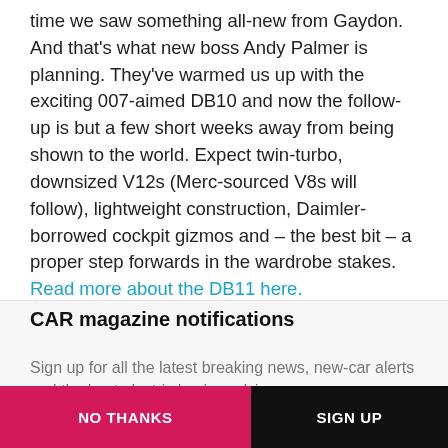time we saw something all-new from Gaydon. And that's what new boss Andy Palmer is planning. They've warmed us up with the exciting 007-aimed DB10 and now the follow-up is but a few short weeks away from being shown to the world. Expect twin-turbo, downsized V12s (Merc-sourced V8s will follow), lightweight construction, Daimler-borrowed cockpit gizmos and – the best bit – a proper step forwards in the wardrobe stakes. Read more about the DB11 here.
CAR magazine notifications
Sign up for all the latest breaking news, new-car alerts and the best electric buying advice
NO THANKS
SIGN UP